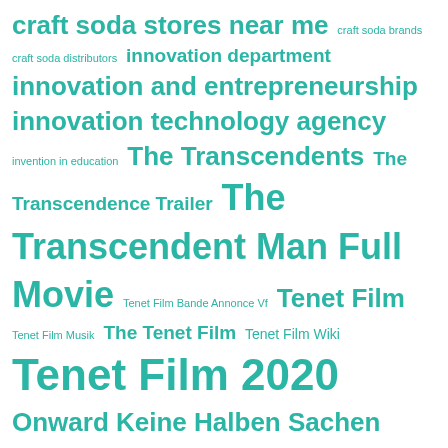craft soda stores near me craft soda brands craft soda distributors innovation department innovation and entrepreneurship innovation technology agency invention in education The Transcendents The Transcendence Trailer The Transcendent Man Full Movie Tenet Film Bande Annonce Vf Tenet Film Tenet Film Musik The Tenet Film Tenet Film Wiki Tenet Film 2020 Onward Keine Halben Sachen Amazon Prime Onward Keine Halben Sachen Amazon Onward Keine Halben Sachen Trailer Onward Keine Halben Sachen Online Stream Onward Keine Halben Sachen Film lagu terbaru gudang lagu pop indo pop